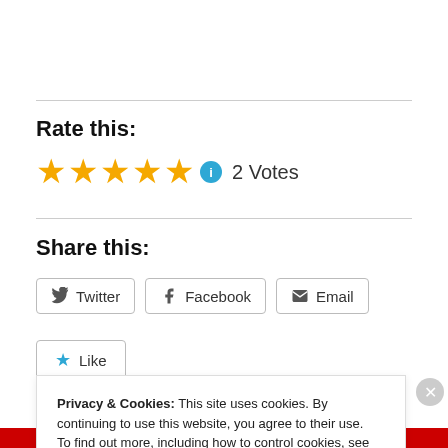Rate this:
[Figure (other): Five gold stars rating widget with info circle icon and '2 Votes' label]
Share this:
[Figure (other): Share buttons: Twitter, Facebook, Email]
[Figure (other): Like button with blue star icon]
Be the first to like this.
Privacy & Cookies: This site uses cookies. By continuing to use this website, you agree to their use. To find out more, including how to control cookies, see here: Cookie Policy
Close and accept